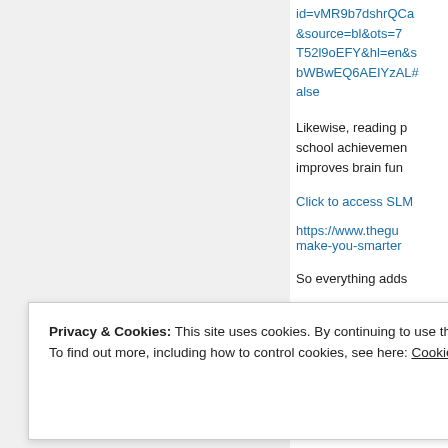id=vMR9b7dshrQCa&source=bl&ots=7T52l9oEFY&hl=en&sbWBwEQ6AEIYzAL#alse
Likewise, reading p... school achievemen... improves brain fun...
Click to access SLM
https://www.thegu... make-you-smarter
So everything adds...
Privacy & Cookies: This site uses cookies. By continuing to use this website, you agree to their use.
To find out more, including how to control cookies, see here: Cookie Policy
Close and accept